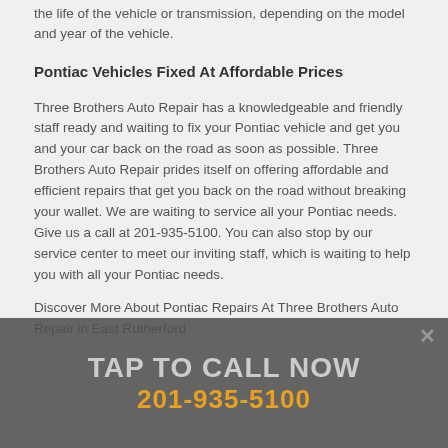the life of the vehicle or transmission, depending on the model and year of the vehicle.
Pontiac Vehicles Fixed At Affordable Prices
Three Brothers Auto Repair has a knowledgeable and friendly staff ready and waiting to fix your Pontiac vehicle and get you and your car back on the road as soon as possible. Three Brothers Auto Repair prides itself on offering affordable and efficient repairs that get you back on the road without breaking your wallet. We are waiting to service all your Pontiac needs. Give us a call at 201-935-5100. You can also stop by our service center to meet our inviting staff, which is waiting to help you with all your Pontiac needs.
Discover More About Pontiac Repairs At Three Brothers Auto Repair in East Rutherford
TAP TO CALL NOW
201-935-5100